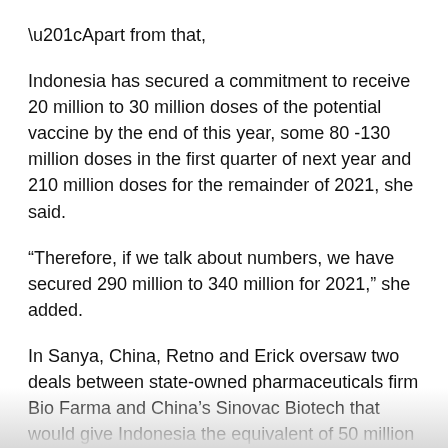“Apart from that,
Indonesia has secured a commitment to receive 20 million to 30 million doses of the potential vaccine by the end of this year, some 80 -130 million doses in the first quarter of next year and 210 million doses for the remainder of 2021, she said.
“Therefore, if we talk about numbers, we have secured 290 million to 340 million for 2021,” she added.
In Sanya, China, Retno and Erick oversaw two deals between state-owned pharmaceuticals firm Bio Farma and China’s Sinovac Biotech that would give Indonesia the equivalent of 50 million doses of the potential vaccine from November to March, and it says of